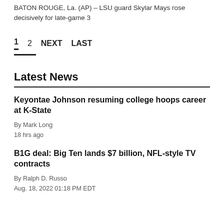BATON ROUGE, La. (AP) – LSU guard Skylar Mays rose decisively for late-game 3
1  2  NEXT  LAST
Latest News
Keyontae Johnson resuming college hoops career at K-State
By Mark Long
18 hrs ago
B1G deal: Big Ten lands $7 billion, NFL-style TV contracts
By Ralph D. Russo
Aug. 18, 2022 01:18 PM EDT